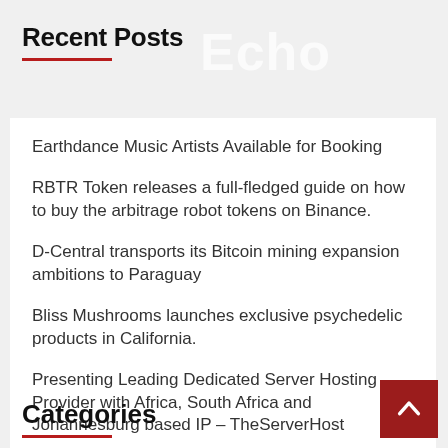Recent Posts
Earthdance Music Artists Available for Booking
RBTR Token releases a full-fledged guide on how to buy the arbitrage robot tokens on Binance.
D-Central transports its Bitcoin mining expansion ambitions to Paraguay
Bliss Mushrooms launches exclusive psychedelic products in California.
Presenting Leading Dedicated Server Hosting Provider with Africa, South Africa and Johannesburg based IP – TheServerHost
Categories